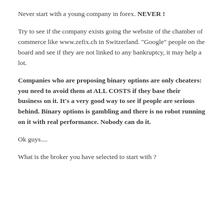Never start with a young company in forex. NEVER !
Try to see if the company exists going the website of the chamber of commerce like www.zefix.ch in Switzerland. "Google" people on the board and see if they are not linked to any bankruptcy, it may help a lot.
Companies who are proposing binary options are only cheaters: you need to avoid them at ALL COSTS if they base their business on it. It's a very good way to see if people are serious behind. Binary options is gambling and there is no robot running on it with real performance. Nobody can do it.
Ok guys....
What is the broker you have selected to start with ?